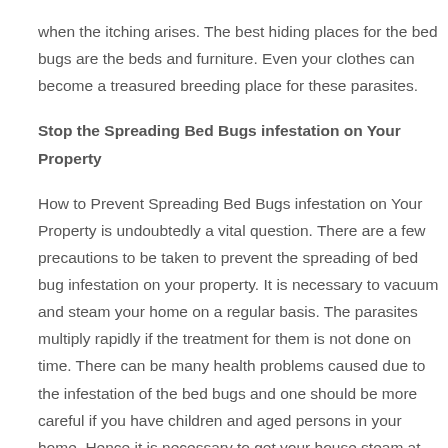when the itching arises. The best hiding places for the bed bugs are the beds and furniture. Even your clothes can become a treasured breeding place for these parasites.
Stop the Spreading Bed Bugs infestation on Your Property
How to Prevent Spreading Bed Bugs infestation on Your Property is undoubtedly a vital question. There are a few precautions to be taken to prevent the spreading of bed bug infestation on your property. It is necessary to vacuum and steam your home on a regular basis. The parasites multiply rapidly if the treatment for them is not done on time. There can be many health problems caused due to the infestation of the bed bugs and one should be more careful if you have children and aged persons in your home. Hence it is necessary to get your house steam at correct intervals, which removes the bugs and the eggs laid by the bed bugs if any in the house. Besides, you should also run your steam cleaner on the carpets and rugs for the best removal of the bed bugs.